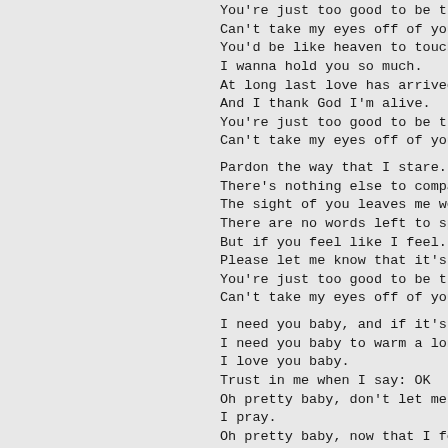You're just too good to be true
Can't take my eyes off of you.
You'd be like heaven to touch.
I wanna hold you so much.
At long last love has arrived.
And I thank God I'm alive.
You're just too good to be true
Can't take my eyes off of you.
Pardon the way that I stare.
There's nothing else to compare
The sight of you leaves me weak
There are no words left to speak
But if you feel like I feel.
Please let me know that it's re
You're just too good to be true
Can't take my eyes off of you.
I need you baby, and if it's qu
I need you baby to warm a lonel
I love you baby.
Trust in me when I say: OK
Oh pretty baby, don't let me do
I pray.
Oh pretty baby, now that I four
And let me love you, oh baby le
You're just too good to be true
Can't take my eyes off of you.
You'd be like heaven to touch.
I wanna hold you so much.
At long last love has arrived.